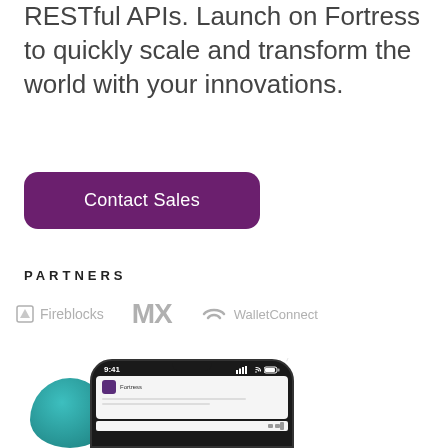RESTful APIs. Launch on Fortress to quickly scale and transform the world with your innovations.
Contact Sales
PARTNERS
[Figure (logo): Partner logos: Fireblocks, MX, WalletConnect displayed in light gray]
[Figure (photo): Mobile phone mockup showing Fortress app interface with teal decorative ball element and dashed circle arc in background]